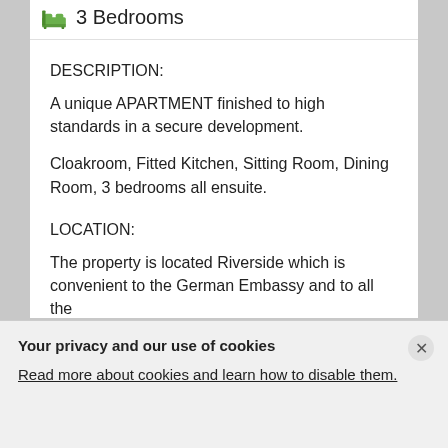[Figure (illustration): Green bed/bedroom icon next to '3 Bedrooms' header text]
DESCRIPTION:
A unique APARTMENT finished to high standards in a secure development.
Cloakroom, Fitted Kitchen, Sitting Room, Dining Room, 3 bedrooms all ensuite.
LOCATION:
The property is located Riverside which is convenient to the German Embassy and to all the main schools including Banda school, French School and Braeburn School. It is
Your privacy and our use of cookies
Read more about cookies and learn how to disable them.